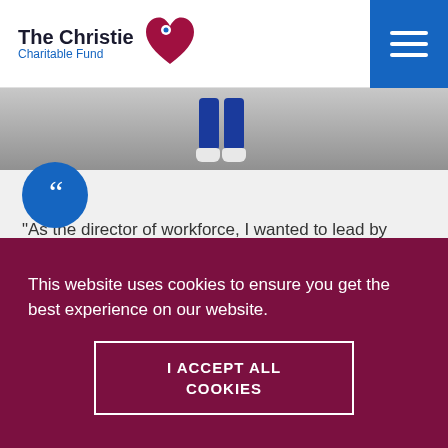The Christie Charitable Fund
[Figure (photo): Photo of person's legs wearing blue leggings and white sneakers, walking outdoors near a stone wall]
"As the director of workforce, I wanted to lead by example and encourage others to take part."
Eve Lightfoot, director of workforce
Read More →
This website uses cookies to ensure you get the best experience on our website.
I ACCEPT ALL COOKIES